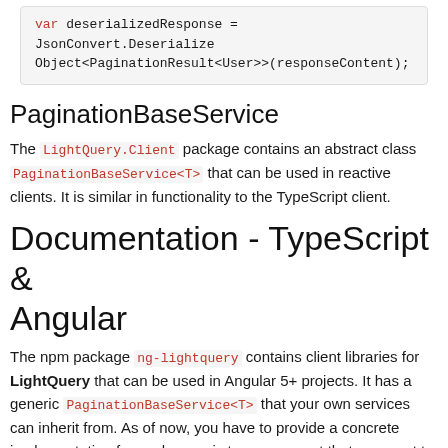var deserializedResponse = JsonConvert.DeserializeObject<PaginationResult<User>>(responseContent);
PaginationBaseService
The LightQuery.Client package contains an abstract class PaginationBaseService<T> that can be used in reactive clients. It is similar in functionality to the TypeScript client.
Documentation - TypeScript & Angular
The npm package ng-lightquery contains client libraries for LightQuery that can be used in Angular 5+ projects. It has a generic PaginationBaseService<T> that your own services can inherit from. As of now, you have to provide a concrete implementation for each generic type argument that you want to use, since the dependency injection in Angular does not currently resolve generics. So if you want two LightQuery services - one to retrieve users and one to retrieve values - you need to create